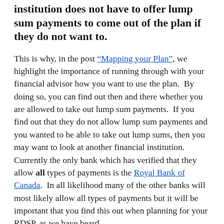institution does not have to offer lump sum payments to come out of the plan if they do not want to.
This is why, in the post "Mapping your Plan", we highlight the importance of running through with your financial advisor how you want to use the plan.  By doing so, you can find out then and there whether you are allowed to take out lump sum payments.  If you find out that they do not allow lump sum payments and you wanted to be able to take out lump sums, then you may want to look at another financial institution.  Currently the only bank which has verified that they allow all types of payments is the Royal Bank of Canada.  In all likelihood many of the other banks will most likely allow all types of payments but it will be important that you find this out when planning for your RDSP, as we have heard